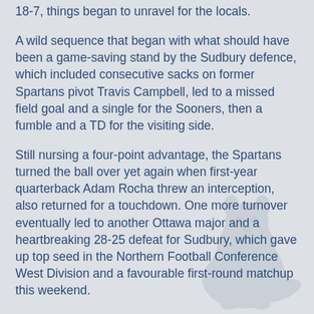18-7, things began to unravel for the locals.
A wild sequence that began with what should have been a game-saving stand by the Sudbury defence, which included consecutive sacks on former Spartans pivot Travis Campbell, led to a missed field goal and a single for the Sooners, then a fumble and a TD for the visiting side.
Still nursing a four-point advantage, the Spartans turned the ball over yet again when first-year quarterback Adam Rocha threw an interception, also returned for a touchdown. One more turnover eventually led to another Ottawa major and a heartbreaking 28-25 defeat for Sudbury, which gave up top seed in the Northern Football Conference West Division and a favourable first-round matchup this weekend.